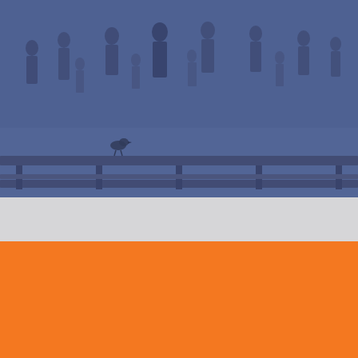[Figure (photo): A crowd of people outdoors in a public plaza with long benches/tables, a pigeon on the ground in the foreground, all overlaid with a blue-purple tint]
Cookies To make this site work properly, we sometimes place small data files called cookies on your device.
✓  Accept